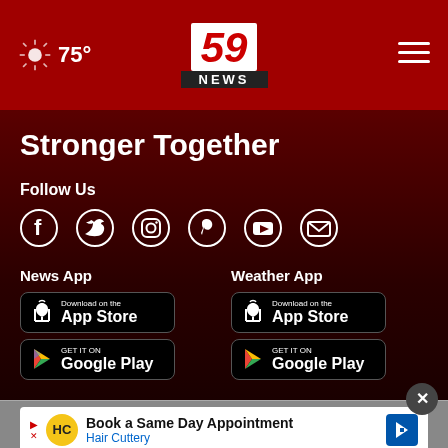75° | 59 NEWS
Stronger Together
Follow Us
[Figure (infographic): Social media icons: Facebook, Twitter, Instagram, Pinterest, YouTube, Email]
News App
[Figure (infographic): Download on the App Store button (News App)]
[Figure (infographic): GET IT ON Google Play button (News App)]
Weather App
[Figure (infographic): Download on the App Store button (Weather App)]
[Figure (infographic): GET IT ON Google Play button (Weather App)]
Book a Same Day Appointment Hair Cuttery
News